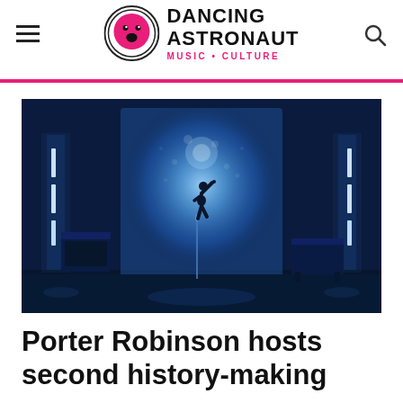Dancing Astronaut — Music + Culture
[Figure (photo): Concert stage photo showing a performer silhouetted against a large glowing blue LED screen with particle/smoke effects, flanked by tall light towers with white panels, with keyboard and piano visible on stage. Deep blue color palette.]
Porter Robinson hosts second history-making